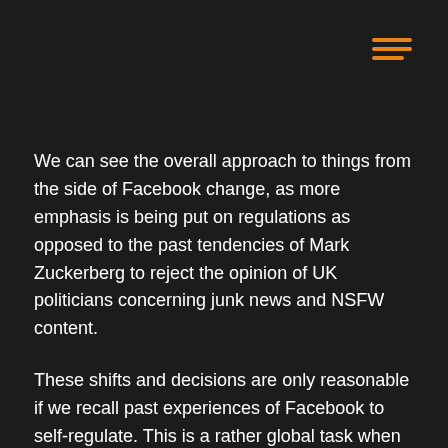[Figure (other): Hamburger menu icon with three orange horizontal lines in the top-right corner]
We can see the overall approach to things from the side of Facebook change, as more emphasis is being put on regulations as opposed to the past tendencies of Mark Zuckerberg to reject the opinion of UK politicians concerning junk news and NSFW content.
These shifts and decisions are only reasonable if we recall past experiences of Facebook to self-regulate. This is a rather global task when we are talking about the social media platform serving over 2 billion users worldwide.
Regulations on the level of jurisdictions can help a lot here